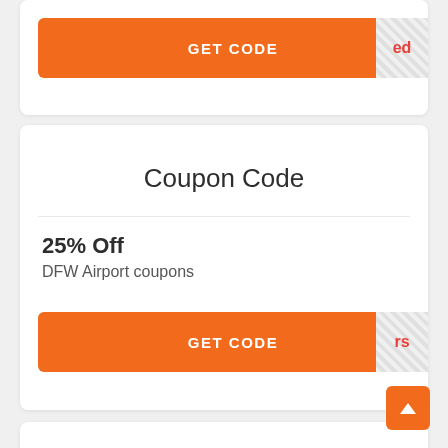[Figure (screenshot): Orange GET CODE button with hatched reveal area showing 'ed' in red, partial top card]
Coupon Code
25% Off
DFW Airport coupons
[Figure (screenshot): Orange GET CODE button with hatched reveal area showing 'rs' in red]
Coupon Code
Up to 50% off Stays at Super 8 by